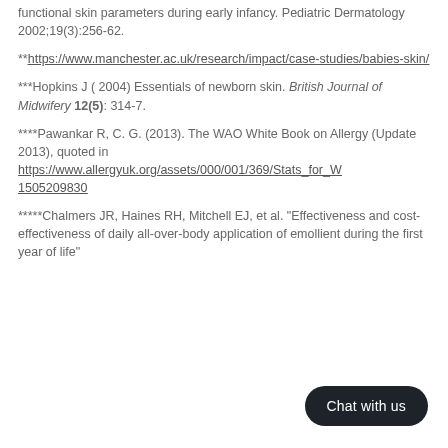functional skin parameters during early infancy. Pediatric Dermatology 2002;19(3):256-62.
**https://www.manchester.ac.uk/research/impact/case-studies/babies-skin/
***Hopkins J ( 2004) Essentials of newborn skin. British Journal of Midwifery 12(5): 314-7.
****Pawankar R, C. G. (2013). The WAO White Book on Allergy (Update 2013), quoted in https://www.allergyuk.org/assets/000/001/369/Stats_for_W 1505209830
*****Chalmers JR, Haines RH, Mitchell EJ, et al. "Effectiveness and cost-effectiveness of daily all-over-body application of emollient during the first year of life"